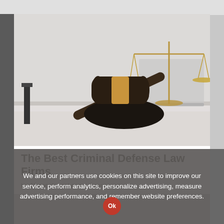[Figure (photo): Photo of a judge's gavel (black wooden mallet with gold band on a black circular base) on a white desk surface, with gold balance of justice scales in the background, soft white/gray office setting]
The Best Criminal Defense Law Firms
top10.recetasget.com | Sponsored
We and our partners use cookies on this site to improve our service, perform analytics, personalize advertising, measure advertising performance, and remember website preferences.